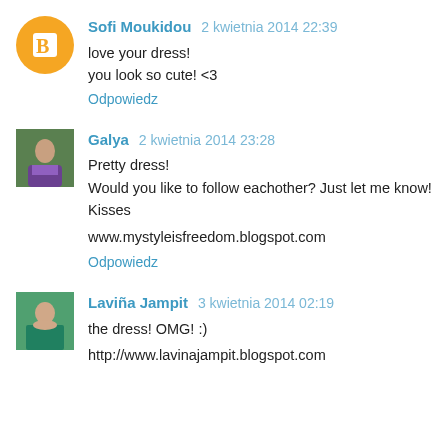Sofi Moukidou 2 kwietnia 2014 22:39
love your dress!
you look so cute! <3
Odpowiedz
Galya 2 kwietnia 2014 23:28
Pretty dress!
Would you like to follow eachother? Just let me know!
Kisses

www.mystyleisfreedom.blogspot.com
Odpowiedz
Laviña Jampit 3 kwietnia 2014 02:19
the dress! OMG! :)

http://www.lavinajampit.blogspot.com